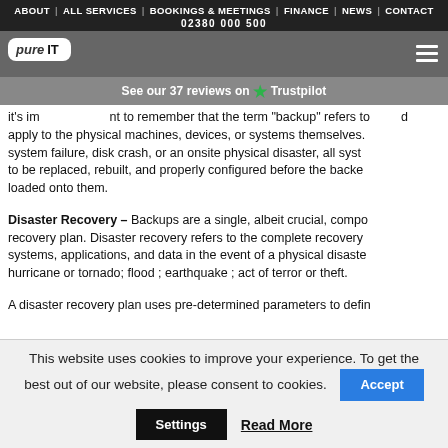ABOUT | ALL SERVICES | BOOKINGS & MEETINGS | FINANCE | NEWS | CONTACT
02380 000 500
[Figure (logo): Pure IT logo in white rounded rectangle box on grey bar, with hamburger menu icon on right]
See our 37 reviews on ★ Trustpilot
It's important to remember that the term "backup" refers to data only and does not apply to the physical machines, devices, or systems themselves. In the event of a system failure, disk crash, or an onsite physical disaster, all systems would need to be replaced, rebuilt, and properly configured before the backed up data could be loaded onto them.
Disaster Recovery – Backups are a single, albeit crucial, component of a disaster recovery plan. Disaster recovery refers to the complete recovery of all your systems, applications, and data in the event of a physical disaster such as a hurricane or tornado; flood ; earthquake ; act of terror or theft.
A disaster recovery plan uses pre-determined parameters to define...
This website uses cookies to improve your experience. To get the best out of our website, please consent to cookies.
Settings | Read More | Accept